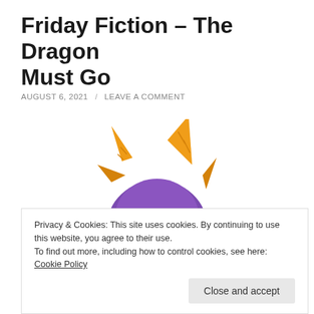Friday Fiction – The Dragon Must Go
AUGUST 6, 2021 / LEAVE A COMMENT
[Figure (illustration): Cartoon illustration of Spyro the Dragon character — a purple dragon with golden/yellow horns and wings, looking to the left with a determined expression. The character is shown from the chest up with golden wings spread behind.]
Privacy & Cookies: This site uses cookies. By continuing to use this website, you agree to their use.
To find out more, including how to control cookies, see here: Cookie Policy
Close and accept